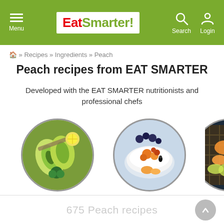EatSmarter! — Menu, Search, Login
» Recipes » Ingredients » Peach
Peach recipes from EAT SMARTER
Developed with the EAT SMARTER nutritionists and professional chefs
[Figure (photo): Circular food photo: Avocado — avocado slices on toast with broccoli]
Avocado
[Figure (photo): Circular food photo: Apricot — yogurt bowl with fruits and toppings]
Apricot
[Figure (photo): Circular food photo: Nectarine (partially visible) — waffles with peaches]
Nect...
675 Peach recipes